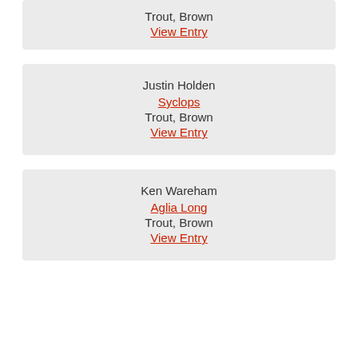Trout, Brown
View Entry
Justin Holden
Syclops
Trout, Brown
View Entry
Ken Wareham
Aglia Long
Trout, Brown
View Entry